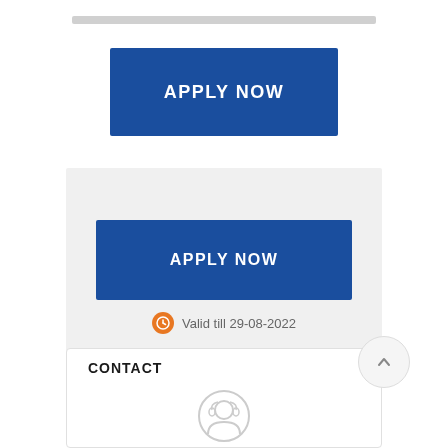[Figure (other): Top horizontal gray separator bar]
[Figure (other): Blue 'APPLY NOW' button (first, upper)]
[Figure (other): Gray background box containing second APPLY NOW button and validity info]
[Figure (other): Blue 'APPLY NOW' button (second, inside gray box)]
Valid till 29-08-2022
CONTACT
[Figure (illustration): Customer service avatar icon with headset]
Skontaktuj sie z